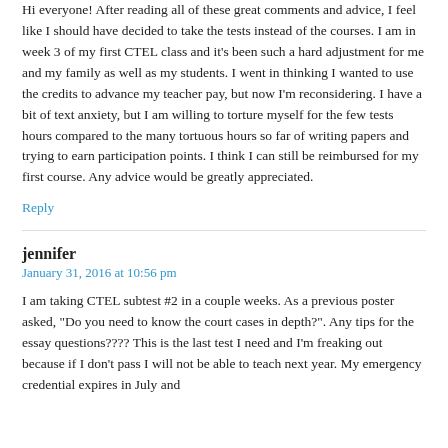Hi everyone! After reading all of these great comments and advice, I feel like I should have decided to take the tests instead of the courses. I am in week 3 of my first CTEL class and it's been such a hard adjustment for me and my family as well as my students. I went in thinking I wanted to use the credits to advance my teacher pay, but now I'm reconsidering. I have a bit of text anxiety, but I am willing to torture myself for the few tests hours compared to the many tortuous hours so far of writing papers and trying to earn participation points. I think I can still be reimbursed for my first course. Any advice would be greatly appreciated.
Reply
jennifer
January 31, 2016 at 10:56 pm
I am taking CTEL subtest #2 in a couple weeks. As a previous poster asked, "Do you need to know the court cases in depth?". Any tips for the essay questions???? This is the last test I need and I'm freaking out because if I don't pass I will not be able to teach next year. My emergency credential expires in July and